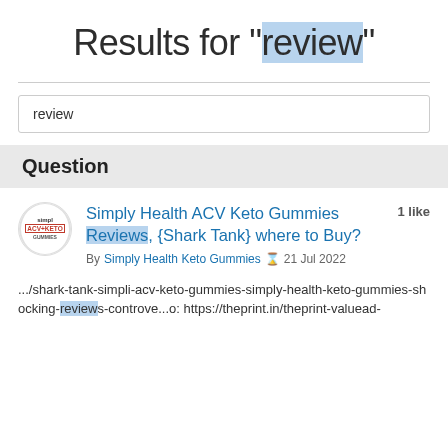Results for "review"
review
Question
Simply Health ACV Keto Gummies Reviews, {Shark Tank} where to Buy?
By Simply Health Keto Gummies  21 Jul 2022
.../shark-tank-simpli-acv-keto-gummies-simply-health-keto-gummies-shocking-reviews-controve...o: https://theprint.in/theprint-valuead-